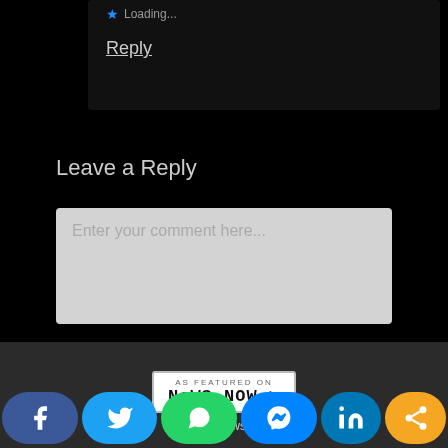Loading...
Reply
Leave a Reply
Enter your comment here...
[Figure (logo): As Featured On News Now badge with Cricket News 24/7 label below]
Cricket News 24/7
Search
[Figure (infographic): Social share bar with Facebook, Twitter, WhatsApp, Messenger, LinkedIn, and share buttons]